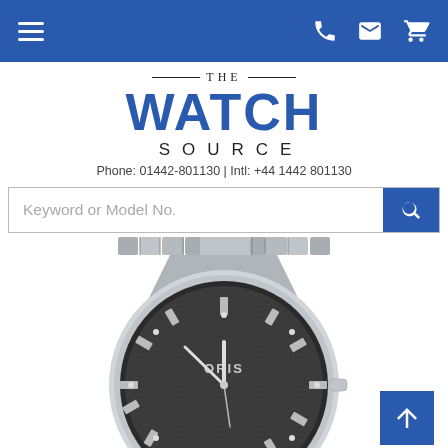Navigation bar with hamburger menu, phone, email, and cart icons
[Figure (logo): The Watch Source logo with horizontal rules flanking THE, bold blue WATCH text, and SOURCE in spaced caps. Phone: 01442-801130 | Intl: +44 1442 801130]
Phone: 01442-801130 | Intl: +44 1442 801130
[Figure (screenshot): Search input field with placeholder 'Keyword or Model No.' and blue search button with magnifying glass icon]
[Figure (photo): Oris watch with dark grey patterned dial, silver baton hands and hour markers with diamond accents, date window at 6 o'clock, and stainless steel bracelet]